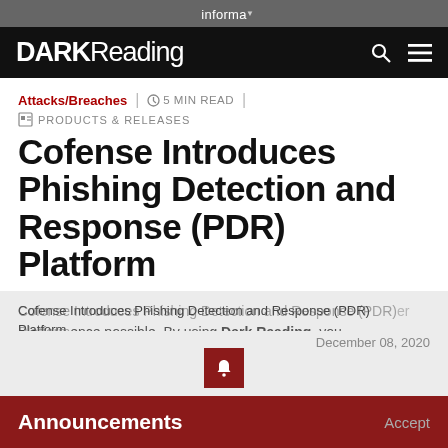informa
DARK Reading
Attacks/Breaches | 5 MIN READ | PRODUCTS & RELEASES
Cofense Introduces Phishing Detection and Response (PDR) Platform
Cofense Introduces Phishing Detection and Response (PDR) Platform
experience possible. By using Dark Reading, you accept our use of cookies.
December 08, 2020
Announcements
Accept